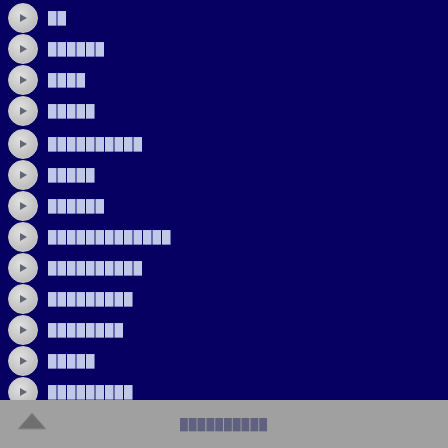██
██████
████
█████
██████████
█████
██████
█████████████
██████████
█████████
████████
█████
█████████
████████
███████
████
██████████